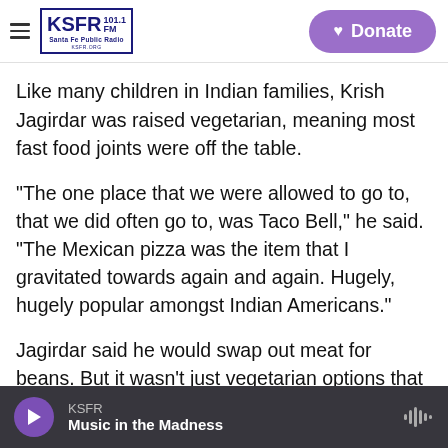KSFR 101.1 FM Santa Fe Public Radio | Donate
Like many children in Indian families, Krish Jagirdar was raised vegetarian, meaning most fast food joints were off the table.
"The one place that we were allowed to go to, that we did often go to, was Taco Bell," he said. "The Mexican pizza was the item that I gravitated towards again and again. Hugely, hugely popular amongst Indian Americans."
Jagirdar said he would swap out meat for beans. But it wasn't just vegetarian options that drew Jagirdar's family to Taco Bell — he says the flavors
KSFR | Music in the Madness